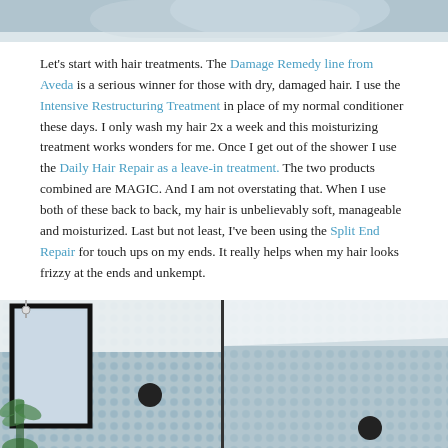[Figure (photo): Top portion of a photo showing a person in white clothing against a blue tiled shower background]
Let's start with hair treatments. The Damage Remedy line from Aveda is a serious winner for those with dry, damaged hair. I use the Intensive Restructuring Treatment in place of my normal conditioner these days. I only wash my hair 2x a week and this moisturizing treatment works wonders for me. Once I get out of the shower I use the Daily Hair Repair as a leave-in treatment. The two products combined are MAGIC. And I am not overstating that. When I use both of these back to back, my hair is unbelievably soft, manageable and moisturized. Last but not least, I've been using the Split End Repair for touch ups on my ends. It really helps when my hair looks frizzy at the ends and unkempt.
[Figure (photo): Two-panel photo of a bathroom shower with blue penny tile walls and a large mirror with black frame. A green plant is visible in the lower left. The two panels are separated by a vertical divider.]